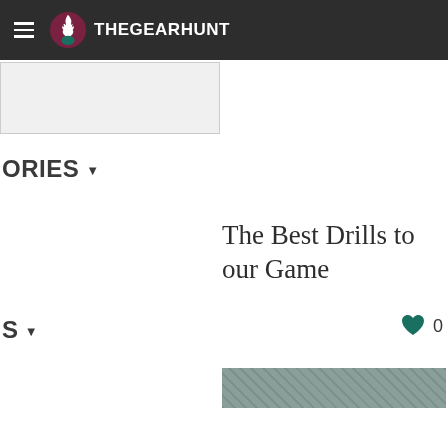THEGEARHUNT
[Figure (screenshot): Search input box, partially visible]
ORIES ▾
The Best Drills to our Game
S ▾
0
[Figure (photo): Partial article thumbnail image]